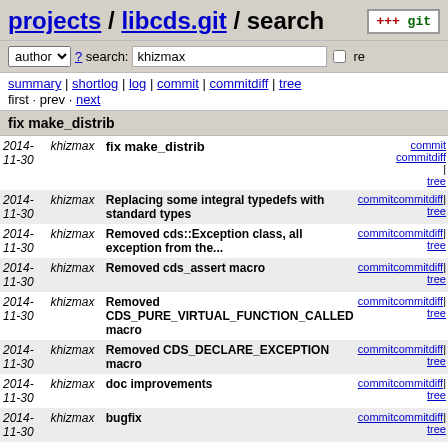projects / libcds.git / search
author ? search: khizmax re
summary | shortlog | log | commit | commitdiff | tree
first · prev · next
fix make_distrib
| Date | Author | Message | Links |
| --- | --- | --- | --- |
| 2014-11-30 | khizmax | fix make_distrib | commit | commitdiff | tree |
| 2014-11-30 | khizmax | Replacing some integral typedefs with standard types | commit | commitdiff | tree |
| 2014-11-30 | khizmax | Removed cds::Exception class, all exception from the... | commit | commitdiff | tree |
| 2014-11-30 | khizmax | Removed cds_assert macro | commit | commitdiff | tree |
| 2014-11-30 | khizmax | Removed CDS_PURE_VIRTUAL_FUNCTION_CALLED macro | commit | commitdiff | tree |
| 2014-11-30 | khizmax | Removed CDS_DECLARE_EXCEPTION macro | commit | commitdiff | tree |
| 2014-11-30 | khizmax | doc improvements | commit | commitdiff | tree |
| 2014-11-30 | khizmax | bugfix | commit | commitdiff | tree |